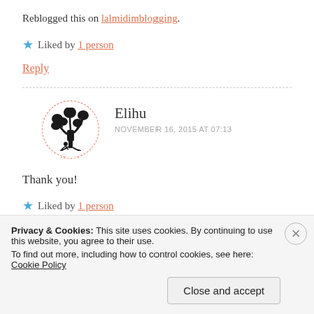Reblogged this on lalmidimblogging.
★ Liked by 1 person
Reply
[Figure (illustration): Avatar circle with dashed red border containing a tree silhouette illustration]
Elihu
NOVEMBER 16, 2015 AT 07:13
Thank you!
★ Liked by 1 person
Privacy & Cookies: This site uses cookies. By continuing to use this website, you agree to their use. To find out more, including how to control cookies, see here: Cookie Policy
Close and accept